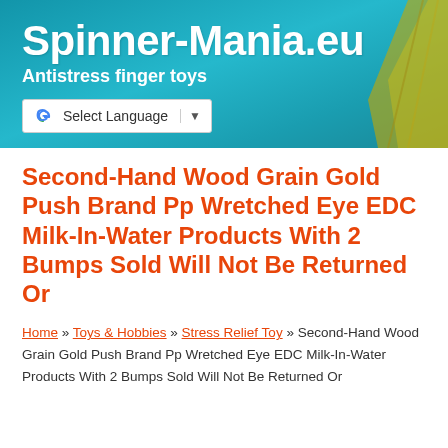Spinner-Mania.eu
Antistress finger toys
Second-Hand Wood Grain Gold Push Brand Pp Wretched Eye EDC Milk-In-Water Products With 2 Bumps Sold Will Not Be Returned Or
Home » Toys & Hobbies » Stress Relief Toy » Second-Hand Wood Grain Gold Push Brand Pp Wretched Eye EDC Milk-In-Water Products With 2 Bumps Sold Will Not Be Returned Or